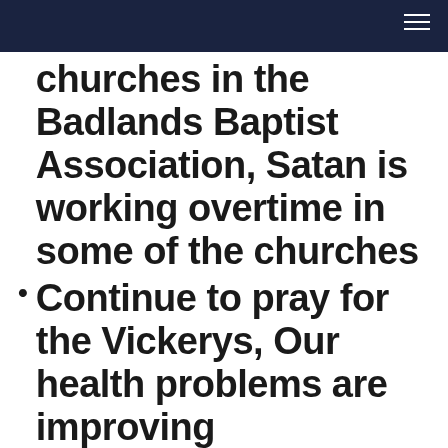churches in the Badlands Baptist Association, Satan is working overtime in some of the churches
Continue to pray for the Vickerys, Our health problems are improving
Let's all keep the leaders of our nation in prayer, what a mess we are in.